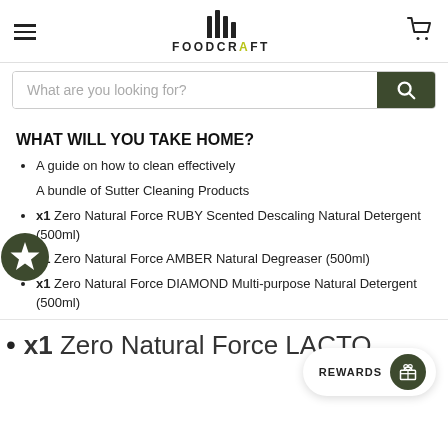FOODCRAFT
What are you looking for?
WHAT WILL YOU TAKE HOME?
A guide on how to clean effectively
A bundle of Sutter Cleaning Products
x1 Zero Natural Force RUBY Scented Descaling Natural Detergent (500ml)
x1 Zero Natural Force AMBER Natural Degreaser (500ml)
x1 Zero Natural Force DIAMOND Multi-purpose Natural Detergent (500ml)
x1 Zero Natural Force LACTO